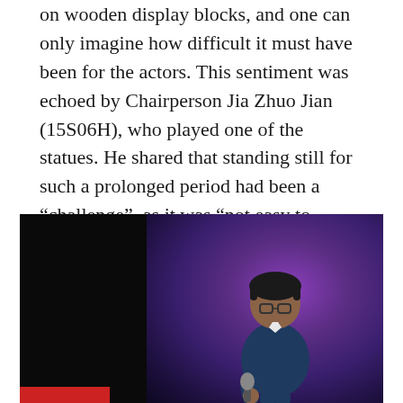on wooden display blocks, and one can only imagine how difficult it must have been for the actors. This sentiment was echoed by Chairperson Jia Zhuo Jian (15S06H), who played one of the statues. He shared that standing still for such a prolonged period had been a “challenge”, as it was “not easy to maintain one posture for long”.
[Figure (photo): A young student performer on stage holding a microphone, wearing glasses and a dark blue shirt, performing in front of a purple and blue stage backdrop with dark curtains on the left side. A red strip is visible at the bottom left of the image.]